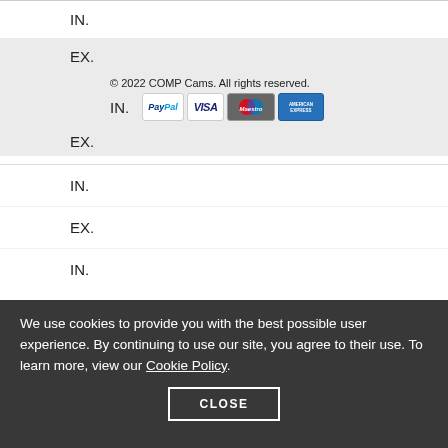IN.
EX.
© 2022 COMP Cams. All rights reserved.
IN.
[Figure (other): Payment method icons: PayPal, VISA, Maestro, American Express]
EX.
IN.
EX.
IN.
We use cookies to provide you with the best possible user experience. By continuing to use our site, you agree to their use. To learn more, view our Cookie Policy.
CLOSE